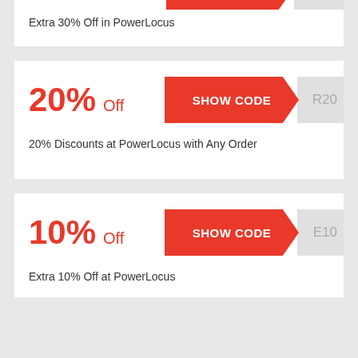[Figure (other): Partial red SHOW CODE coupon button at top of page, clipped]
Extra 30% Off in PowerLocus
[Figure (other): 20% Off coupon card with red SHOW CODE button and partially visible code R20]
20% Discounts at PowerLocus with Any Order
[Figure (other): 10% Off coupon card with red SHOW CODE button and partially visible code E10]
Extra 10% Off at PowerLocus